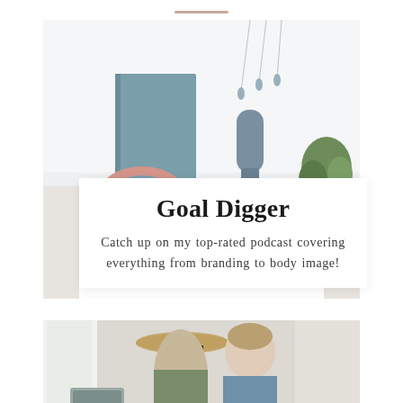[Figure (photo): Flat lay / desk scene with pink headphones, a blue microphone, teal book, and plant in a bright white room]
Goal Digger
Catch up on my top-rated podcast covering everything from branding to body image!
[Figure (photo): Two people, a woman with a tan wide-brim hat and a man in a blue shirt, appear to be kissing or leaning close together in a bright workspace setting]